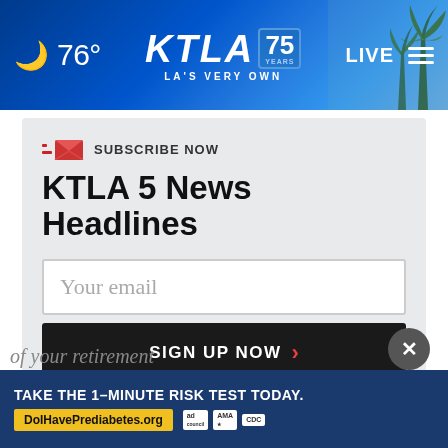[Figure (screenshot): KTLA 5 news website header bar with moon icon, 76° temperature, KTLA 75 Years logo, LA'S VERY OWN tagline, LIVE text and hamburger menu]
SUBSCRIBE NOW
KTLA 5 News Headlines
Your email
SIGN UP NOW
[Figure (infographic): Advertisement banner: TAKE THE 1-MINUTE RISK TEST TODAY. DolHavePrediabetes.org with ad council, AMA, and CDC logos]
of your retirement